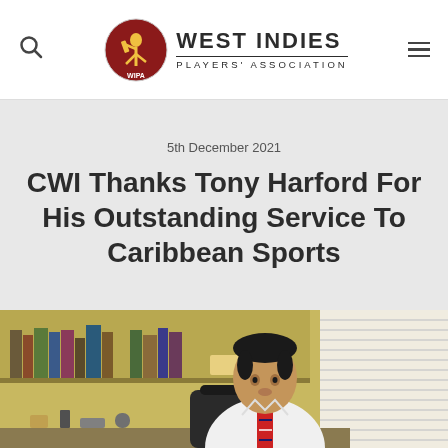West Indies Players' Association
5th December 2021
CWI Thanks Tony Harford For His Outstanding Service To Caribbean Sports
[Figure (photo): A man in a white shirt and striped tie seated at a desk in an office, with bookshelves and a yellow wall in the background]